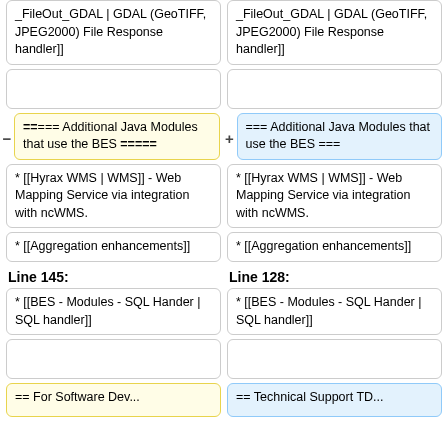_FileOut_GDAL | GDAL (GeoTIFF, JPEG2000) File Response handler]]
_FileOut_GDAL | GDAL (GeoTIFF, JPEG2000) File Response handler]]
==== Additional Java Modules that use the BES =====
=== Additional Java Modules that use the BES ===
* [[Hyrax WMS | WMS]] - Web Mapping Service via integration with ncWMS.
* [[Hyrax WMS | WMS]] - Web Mapping Service via integration with ncWMS.
* [[Aggregation enhancements]]
* [[Aggregation enhancements]]
Line 145:
Line 128:
* [[BES - Modules - SQL Hander | SQL handler]]
* [[BES - Modules - SQL Hander | SQL handler]]